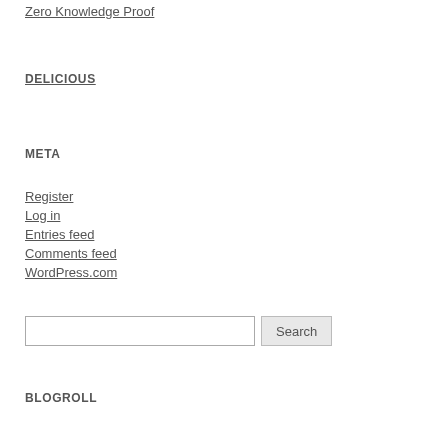Zero Knowledge Proof
DELICIOUS
META
Register
Log in
Entries feed
Comments feed
WordPress.com
Search
BLOGROLL